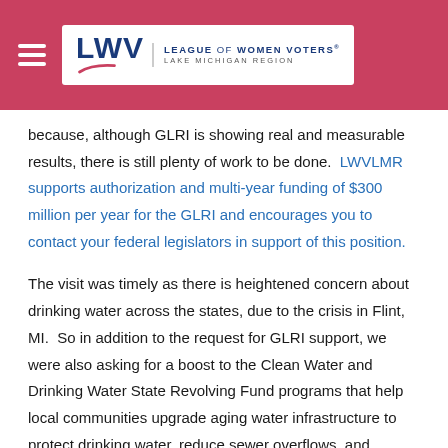League of Women Voters – Lake Michigan Region
because, although GLRI is showing real and measurable results, there is still plenty of work to be done. LWVLMR supports authorization and multi-year funding of $300 million per year for the GLRI and encourages you to contact your federal legislators in support of this position.
The visit was timely as there is heightened concern about drinking water across the states, due to the crisis in Flint, MI. So in addition to the request for GLRI support, we were also asking for a boost to the Clean Water and Drinking Water State Revolving Fund programs that help local communities upgrade aging water infrastructure to protect drinking water, reduce sewer overflows, and prevent beach contamination.